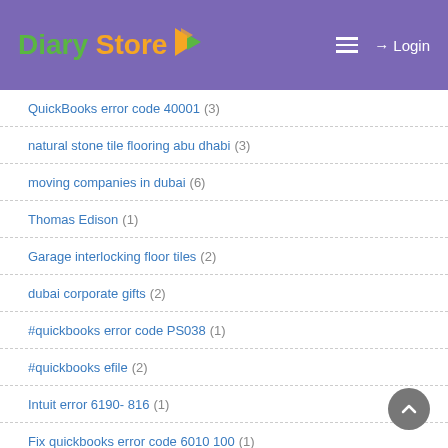Diary Store — Login
QuickBooks error code 40001 (3)
natural stone tile flooring abu dhabi (3)
moving companies in dubai (6)
Thomas Edison (1)
Garage interlocking floor tiles (2)
dubai corporate gifts (2)
#quickbooks error code PS038 (1)
#quickbooks efile (2)
Intuit error 6190- 816 (1)
Fix quickbooks error code 6010 100 (1)
how do i reset my quickbooks password (1)
Error H505 QuickBooks 2018 (1)